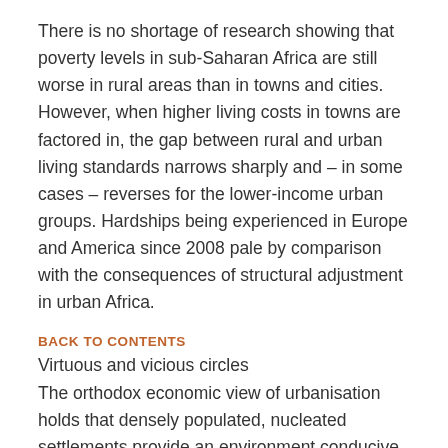There is no shortage of research showing that poverty levels in sub-Saharan Africa are still worse in rural areas than in towns and cities. However, when higher living costs in towns are factored in, the gap between rural and urban living standards narrows sharply and – in some cases – reverses for the lower-income urban groups. Hardships being experienced in Europe and America since 2008 pale by comparison with the consequences of structural adjustment in urban Africa.
BACK TO CONTENTS
Virtuous and vicious circles
The orthodox economic view of urbanisation holds that densely populated, nucleated settlements provide an environment conducive to innovation and economies of scale. Core productive businesses generate multiplier effects in associated production, commerce and service industries. Reasonable, sustained incomes fuel mass